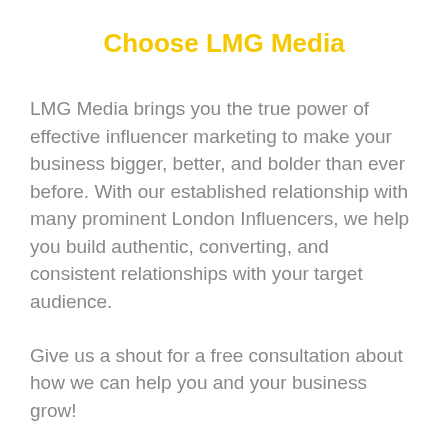Choose LMG Media
LMG Media brings you the true power of effective influencer marketing to make your business bigger, better, and bolder than ever before. With our established relationship with many prominent London Influencers, we help you build authentic, converting, and consistent relationships with your target audience.
Give us a shout for a free consultation about how we can help you and your business grow!